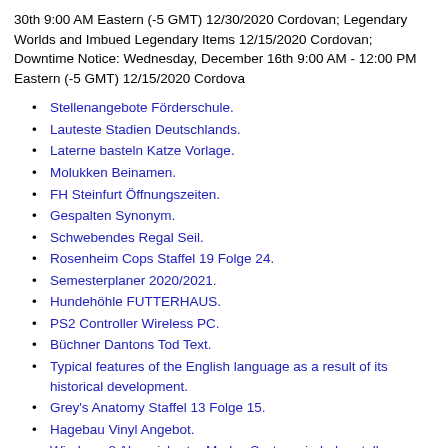30th 9:00 AM Eastern (-5 GMT) 12/30/2020 Cordovan; Legendary Worlds and Imbued Legendary Items 12/15/2020 Cordovan; Downtime Notice: Wednesday, December 16th 9:00 AM - 12:00 PM Eastern (-5 GMT) 12/15/2020 Cordova
Stellenangebote Förderschule.
Lauteste Stadien Deutschlands.
Laterne basteln Katze Vorlage.
Molukken Beinamen.
FH Steinfurt Öffnungszeiten.
Gespalten Synonym.
Schwebendes Regal Seil.
Rosenheim Cops Staffel 19 Folge 24.
Semesterplaner 2020/2021.
Hundehöhle FUTTERHAUS.
PS2 Controller Wireless PC.
Büchner Dantons Tod Text.
Typical features of the English language as a result of its historical development.
Grey's Anatomy Staffel 13 Folge 15.
Hagebau Vinyl Angebot.
Windows 8 Abgesicherter Modus Systemwiederherstellung.